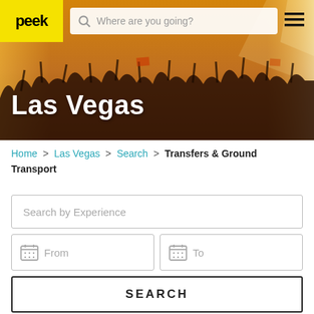[Figure (screenshot): Hero banner of Las Vegas concert crowd with orange warm lighting, people with arms raised, flags visible. Top navigation bar with yellow 'peek' logo, search bar 'Where are you going?', and hamburger menu icon.]
Las Vegas
Home > Las Vegas > Search > Transfers & Ground Transport
[Figure (screenshot): Search form with 'Search by Experience' input field, From and To date pickers with calendar icons, a SEARCH button, and Filter / Sort by dropdowns at the bottom.]